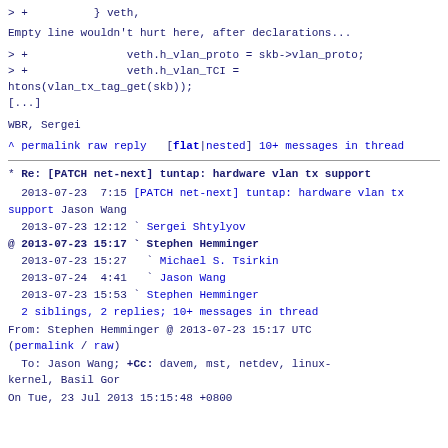> +          } veth,
Empty line wouldn't hurt here, after declarations...
> +               veth.h_vlan_proto = skb->vlan_proto;
> +               veth.h_vlan_TCI = htons(vlan_tx_tag_get(skb));
[...]
WBR, Sergei
^ permalink raw reply   [flat|nested] 10+ messages in thread
* Re: [PATCH net-next] tuntap: hardware vlan tx support
2013-07-23  7:15 [PATCH net-next] tuntap: hardware vlan tx support Jason Wang
  2013-07-23 12:12 ` Sergei Shtylyov
@ 2013-07-23 15:17 ` Stephen Hemminger
  2013-07-23 15:27   ` Michael S. Tsirkin
  2013-07-24  4:41   ` Jason Wang
  2013-07-23 15:53 ` Stephen Hemminger
  2 siblings, 2 replies; 10+ messages in thread
From: Stephen Hemminger @ 2013-07-23 15:17 UTC (permalink / raw)
To: Jason Wang; +Cc: davem, mst, netdev, linux-kernel, Basil Gor
On Tue, 23 Jul 2013 15:15:48 +0800